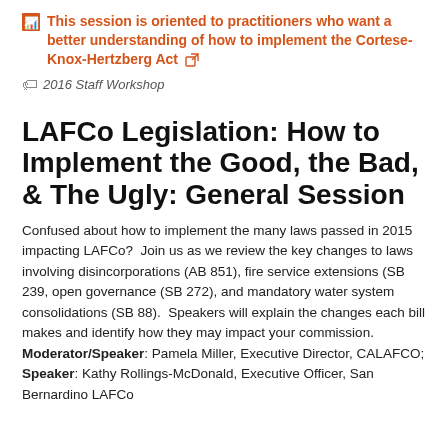This session is oriented to practitioners who want a better understanding of how to implement the Cortese-Knox-Hertzberg Act
2016 Staff Workshop
LAFCo Legislation: How to Implement the Good, the Bad, & The Ugly: General Session
Confused about how to implement the many laws passed in 2015 impacting LAFCo?  Join us as we review the key changes to laws involving disincorporations (AB 851), fire service extensions (SB 239, open governance (SB 272), and mandatory water system consolidations (SB 88).  Speakers will explain the changes each bill makes and identify how they may impact your commission. Moderator/Speaker: Pamela Miller, Executive Director, CALAFCO; Speaker: Kathy Rollings-McDonald, Executive Officer, San Bernardino LAFCo